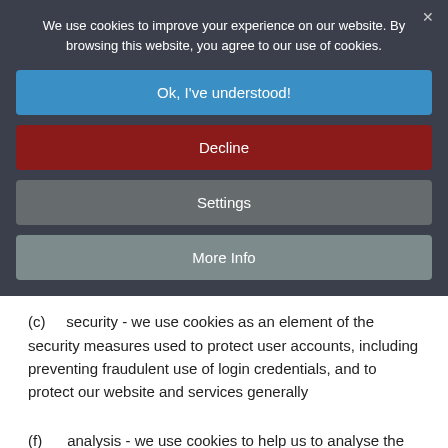We use cookies to improve your experience on our website. By browsing this website, you agree to our use of cookies.
Ok, I've understood!
Decline
Settings
More Info
(c)    security - we use cookies as an element of the security measures used to protect user accounts, including preventing fraudulent use of login credentials, and to protect our website and services generally
(f)    analysis - we use cookies to help us to analyse the use and performance of our website and services